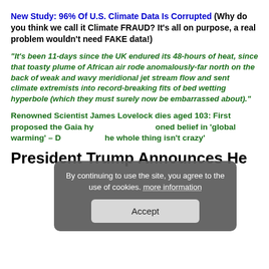New Study: 96% Of U.S. Climate Data Is Corrupted (Why do you think we call it Climate FRAUD? It's all on purpose, a real problem wouldn't need FAKE data!)
“It’s been 11-days since the UK endured its 48-hours of heat, since that toasty plume of African air rode anomalously-far north on the back of weak and wavy meridional jet stream flow and sent climate extremists into record-breaking fits of bed wetting hyperbole (which they must surely now be embarrassed about).”
Renowned Scientist James Lovelock dies aged 103: First proposed the Gaia hypothesis, abandoned belief in ‘global warming’ – Died saying ‘the whole thing isn’t crazy’
President Trump Announces He